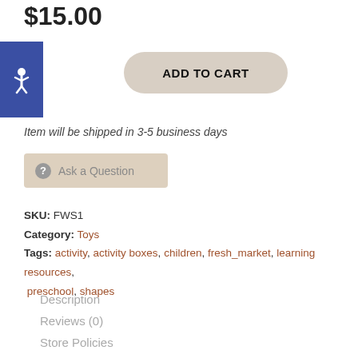$15.00
[Figure (illustration): Blue square accessibility icon with a person symbol in white]
ADD TO CART
Item will be shipped in 3-5 business days
? Ask a Question
SKU: FWS1
Category: Toys
Tags: activity, activity boxes, children, fresh_market, learning resources, preschool, shapes
Description
Reviews (0)
Store Policies
Inquiries